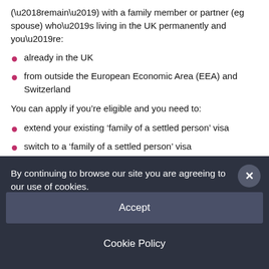(‘remain’) with a family member or partner (eg spouse) who’s living in the UK permanently and you’re:
already in the UK
from outside the European Economic Area (EEA) and Switzerland
You can apply if you’re eligible and you need to:
extend your existing ‘family of a settled person’ visa
switch to a ‘family of a settled person’ visa
By continuing to browse our site you are agreeing to our use of cookies.
Accept
Cookie Policy